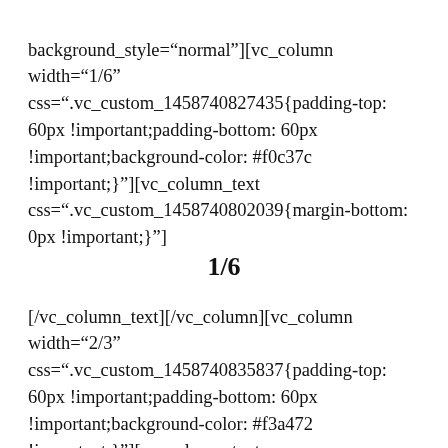background_style="normal"][vc_column width="1/6" css=".vc_custom_1458740827435{padding-top: 60px !important;padding-bottom: 60px !important;background-color: #f0c37c !important;}"][vc_column_text css=".vc_custom_1458740802039{margin-bottom: 0px !important;}"]
1/6
[/vc_column_text][/vc_column][vc_column width="2/3" css=".vc_custom_1458740835837{padding-top: 60px !important;padding-bottom: 60px !important;background-color: #f3a472 !important;}"][vc_column_text